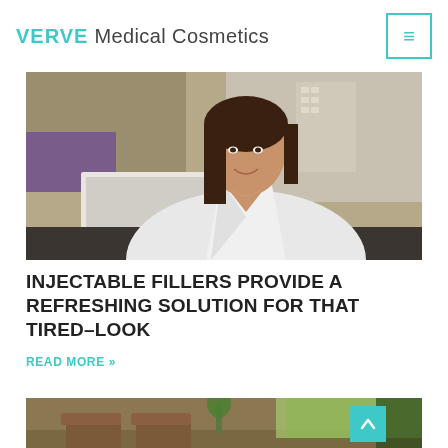VERVE Medical Cosmetics
[Figure (photo): Professional woman in a white blazer sitting at a desk with a laptop, smiling at the camera in a modern office environment]
INJECTABLE FILLERS PROVIDE A REFRESHING SOLUTION FOR THAT TIRED-LOOK
READ MORE »
[Figure (photo): Interior of a waiting room or lounge with brown chairs, green plants, and large windows with greenery outside]